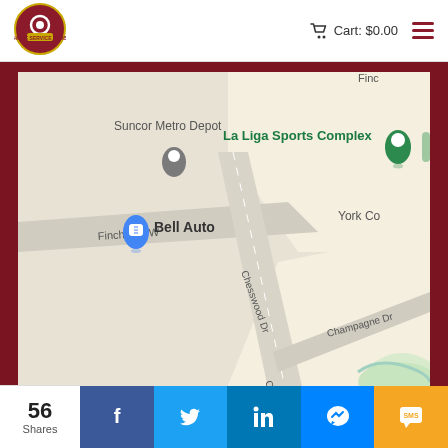[Figure (logo): Home Service Club circular logo with camera/tool imagery and red banner]
Cart: $0.00
[Figure (map): Google Maps screenshot showing Chesswood Dr, Finch Ave W, Champagne Dr, Suncor Metro Depot, Bell Auto, La Liga Sports Complex, York Community area in Toronto]
56 Shares
[Figure (infographic): Social share buttons: Facebook, Twitter, LinkedIn, Messenger, SMS]